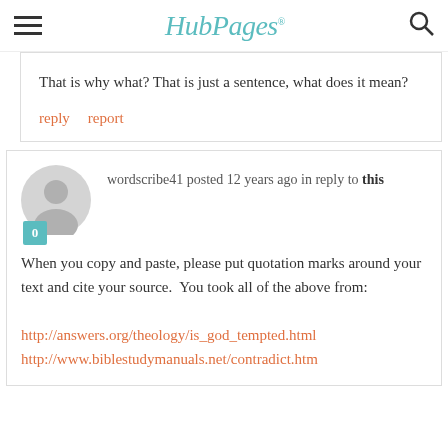HubPages
That is why what? That is just a sentence, what does it mean?
reply   report
wordscribe41 posted 12 years ago in reply to this
When you copy and paste, please put quotation marks around your text and cite your source.  You took all of the above from:
http://answers.org/theology/is_god_tempted.html
http://www.biblestudymanuals.net/contradict.htm